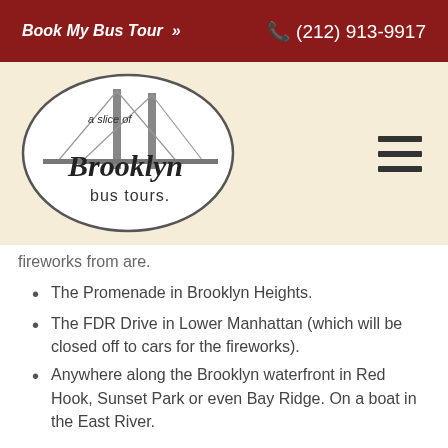Book My Bus Tour >> (212) 913-9917
[Figure (logo): A Slice of Brooklyn Bus Tours logo — oval frame with Brooklyn Bridge illustration, script text 'Brooklyn bus tours']
fireworks from are.
The Promenade in Brooklyn Heights.
The FDR Drive in Lower Manhattan (which will be closed off to cars for the fireworks).
Anywhere along the Brooklyn waterfront in Red Hook, Sunset Park or even Bay Ridge. On a boat in the East River.
*Bonus Tip: Be sure to tune into 1010 Wins AM radio or on the Radio.com app to hear the musical score that's synchronized with the